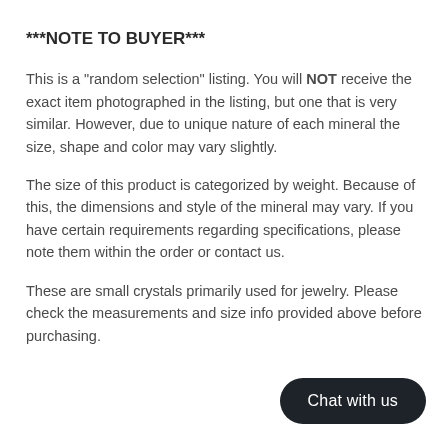***NOTE TO BUYER***
This is a "random selection" listing. You will NOT receive the exact item photographed in the listing, but one that is very similar. However, due to unique nature of each mineral the size, shape and color may vary slightly.
The size of this product is categorized by weight. Because of this, the dimensions and style of the mineral may vary. If you have certain requirements regarding specifications, please note them within the order or contact us.
These are small crystals primarily used for jewelry. Please check the measurements and size info provided above before purchasing.